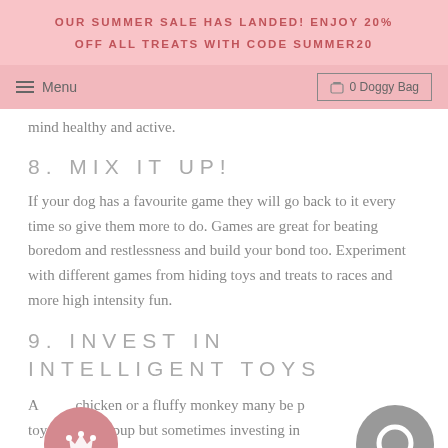OUR SUMMER SALE HAS LANDED! ENJOY 20% OFF ALL TREATS WITH CODE SUMMER20
Menu | 0 Doggy Bag
mind healthy and active.
8. MIX IT UP!
If your dog has a favourite game they will go back to it every time so give them more to do. Games are great for beating boredom and restlessness and build your bond too. Experiment with different games from hiding toys and treats to races and more high intensity fun.
9. INVEST IN INTELLIGENT TOYS
A chicken or a fluffy monkey many be p... toys with your pup but sometimes investing in something which is more of a challenge is just what